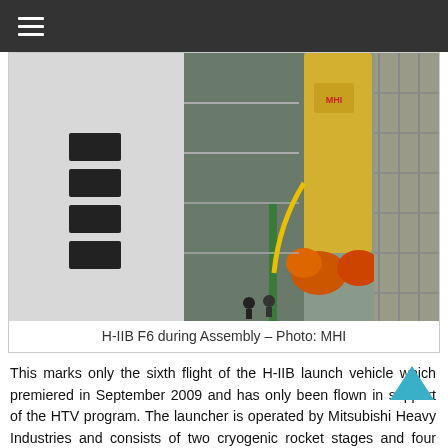≡
[Figure (photo): H-IIB F6 rocket during assembly in a large facility, showing a white rocket body and yellow upper stage with orange engine nozzles, alongside scaffolding and industrial equipment.]
H-IIB F6 during Assembly – Photo: MHI
This marks only the sixth flight of the H-IIB launch vehicle which premiered in September 2009 and has only been flown in support of the HTV program. The launcher is operated by Mitsubishi Heavy Industries and consists of two cryogenic rocket stages and four Solid Rocket Boosters, giving it a liftoff mass of 531 metric tons and a Low Earth Orbit payload capability of 19 tons.
>>H-IIB Launch Vehicle
H-IIB is powered up for a detailed set of flight control checks